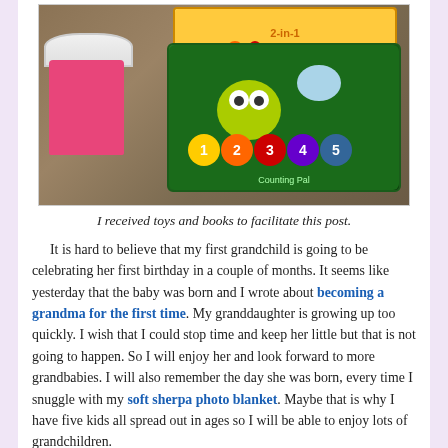[Figure (photo): Photo of children's toys including a pink gift bag with polka-dot tissue paper, a LeapFrog counting pal toy with numbers 1-2-3-4-5, and another toy box in the background, all resting on carpet.]
I received toys and books to facilitate this post.
It is hard to believe that my first grandchild is going to be celebrating her first birthday in a couple of months. It seems like yesterday that the baby was born and I wrote about becoming a grandma for the first time. My granddaughter is growing up too quickly. I wish that I could stop time and keep her little but that is not going to happen. So I will enjoy her and look forward to more grandbabies. I will also remember the day she was born, every time I snuggle with my soft sherpa photo blanket. Maybe that is why I have five kids all spread out in ages so I will be able to enjoy lots of grandchildren.